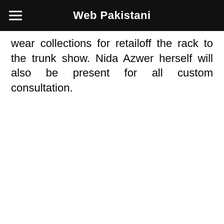Web Pakistani
wear collections for retailoff the rack to the trunk show. Nida Azwer herself will also be present for all custom consultation.